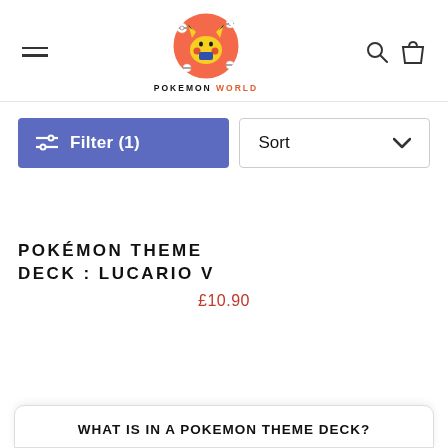POKEMON WORLD
[Figure (logo): Pokemon World logo: Pikachu in a red circle with scattered pokeballs, text POKEMON WORLD below]
Filter (1)
Sort
POKÉMON THEME DECK : LUCARIO V
£10.90
WHAT IS IN A POKEMON THEME DECK?